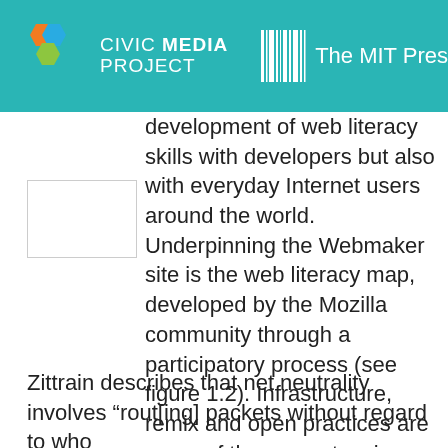CIVIC MEDIA PROJECT | The MIT Press
development of web literacy skills with developers but also with everyday Internet users around the world. Underpinning the Webmaker site is the web literacy map, developed by the Mozilla community through a participatory process (see figure 1.2). Infrastructure, remix and open practices are some of the competencies on the web literacy map that are applicable to this case study and to teaching net neutrality.
Zittrain describes that net neutrality involves “rout[ing] packets without regard to who